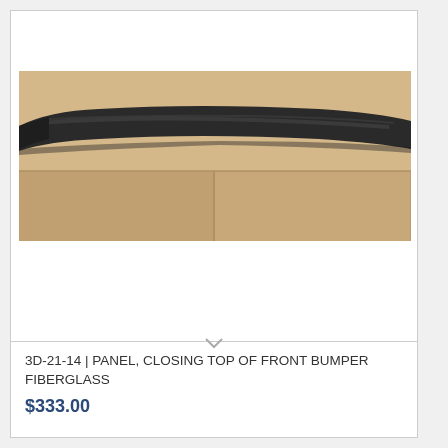[Figure (photo): A long, thin dark/black fiberglass bumper closing panel laid horizontally on a beige/tan surface (countertop or table). The part is slim and elongated, photographed from a slight angle.]
3D-21-14 | PANEL, CLOSING TOP OF FRONT BUMPER FIBERGLASS
$333.00